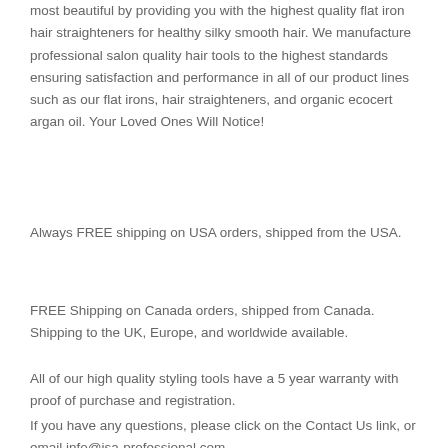most beautiful by providing you with the highest quality flat iron hair straighteners for healthy silky smooth hair. We manufacture professional salon quality hair tools to the highest standards ensuring satisfaction and performance in all of our product lines such as our flat irons, hair straighteners, and organic ecocert argan oil. Your Loved Ones Will Notice!
Always FREE shipping on USA orders, shipped from the USA.
FREE Shipping on Canada orders, shipped from Canada. Shipping to the UK, Europe, and worldwide available.
All of our high quality styling tools have a 5 year warranty with proof of purchase and registration.
If you have any questions, please click on the Contact Us link, or email info@isa-professional.com